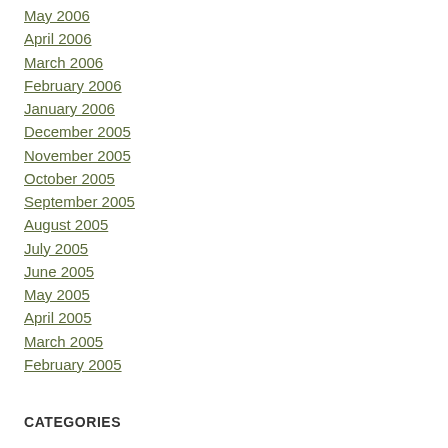May 2006
April 2006
March 2006
February 2006
January 2006
December 2005
November 2005
October 2005
September 2005
August 2005
July 2005
June 2005
May 2005
April 2005
March 2005
February 2005
CATEGORIES